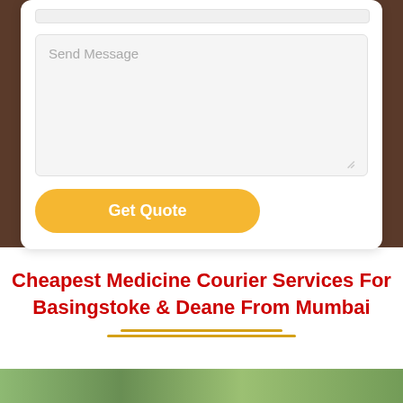[Figure (screenshot): A web form with a textarea labeled 'Send Message' and a 'Get Quote' button on a dark brown background with a white card]
Cheapest Medicine Courier Services For Basingstoke & Deane From Mumbai
[Figure (photo): A green plant/medicine related image strip at the bottom]